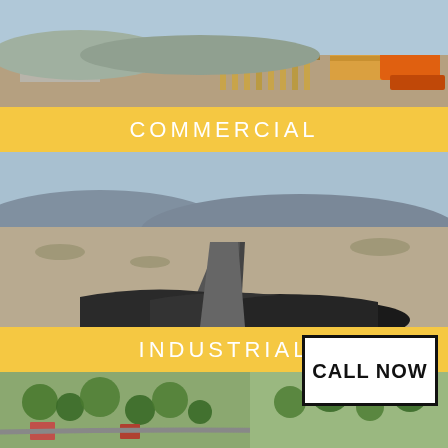[Figure (photo): Aerial view of a construction site with concrete foundation slabs, wooden framing columns, stacked lumber, and an orange crane/telehandler on dry desert terrain.]
COMMERCIAL
[Figure (photo): Aerial and ground-level composite photo showing large black pipes/conduits running across an arid desert landscape with mountains in the background.]
INDUSTRIAL
[Figure (photo): Aerial view of a residential neighborhood with trees, houses, and roads in a desert area.]
CALL NOW